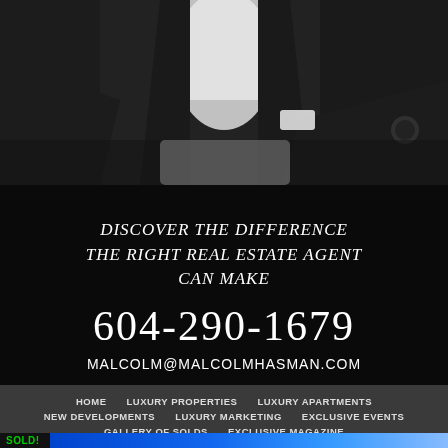[Figure (photo): Professional in dark suit with white shirt, cropped torso view, dark background]
DISCOVER THE DIFFERENCE THE RIGHT REAL ESTATE AGENT CAN MAKE
604-290-1679
MALCOLM@MALCOLMHASMAN.COM
HOME
LUXURY PROPERTIES
LUXURY APARTMENTS
NEW DEVELOPMENTS
LUXURY MARKETING
EXCLUSIVE EVENTS
GALLERY OF SOLDS
EXCLUSIVE MAGAZINE
SOLD!